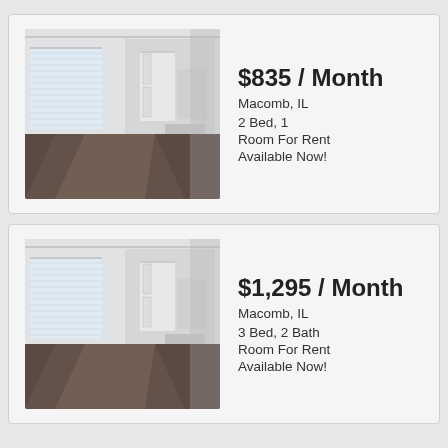[Figure (photo): Interior photo of a room with carpeted floor, white walls, windows with blinds, and a view of kitchen appliances in background]
$835 / Month
Macomb, IL
2 Bed, 1
Room For Rent
Available Now!
[Figure (photo): Interior photo of a room with carpeted floor, white walls, windows with blinds, and a view of kitchen appliances in background]
$1,295 / Month
Macomb, IL
3 Bed, 2 Bath
Room For Rent
Available Now!